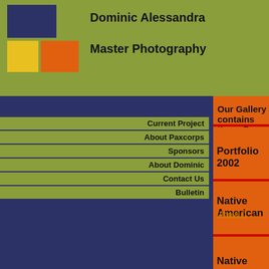Dominic Alessandra
Master Photography
Current Project
About Paxcorps
Sponsors
About Dominic
Contact Us
Bulletin
Our Gallery contains these Por
Portfolio 2002 #1 #2 #3
Native American (About...) #1 #2 #3 #
Native Mexican #1 #2
Whitby England (About...) #1 #2 #3 #